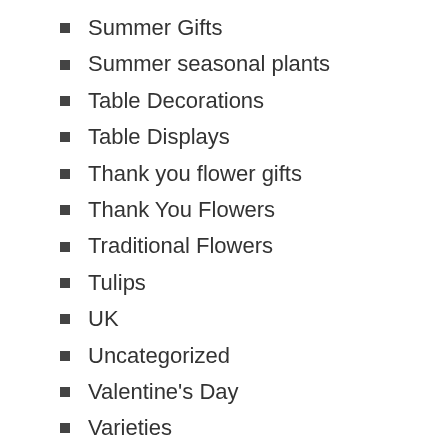Summer Gifts
Summer seasonal plants
Table Decorations
Table Displays
Thank you flower gifts
Thank You Flowers
Traditional Flowers
Tulips
UK
Uncategorized
Valentine's Day
Varieties
Vase
Vases
Violet
Wedding florist UK
Wedding flower colors